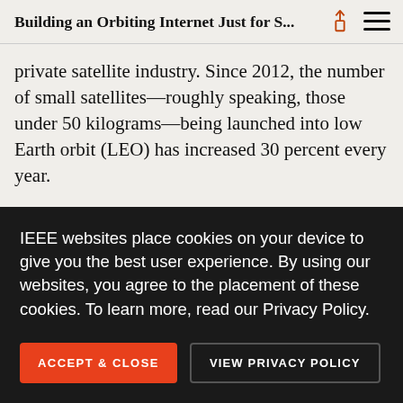Building an Orbiting Internet Just for S...
private satellite industry. Since 2012, the number of small satellites—roughly speaking, those under 50 kilograms—being launched into low Earth orbit (LEO) has increased 30 percent every year.
One huge problem with this proliferation of small satellites is communicating with the ground. Satellites in low Earth orbit circle the planet about once every
IEEE websites place cookies on your device to give you the best user experience. By using our websites, you agree to the placement of these cookies. To learn more, read our Privacy Policy.
ACCEPT & CLOSE
VIEW PRIVACY POLICY